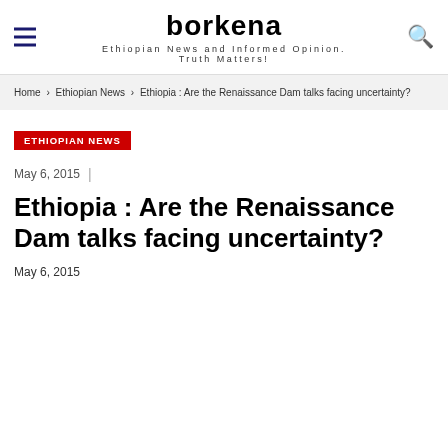borkena
Ethiopian News and Informed Opinion. Truth Matters!
Home › Ethiopian News › Ethiopia : Are the Renaissance Dam talks facing uncertainty?
ETHIOPIAN NEWS
May 6, 2015
Ethiopia : Are the Renaissance Dam talks facing uncertainty?
May 6, 2015